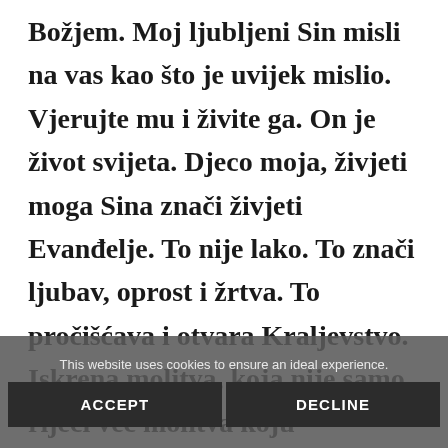Božjem. Moj ljubljeni Sin misli na vas kao što je uvijek mislio. Vjerujte mu i živite ga. On je život svijeta. Djeco moja, živjeti moga Sina znači živjeti Evanđelje. To nije lako. To znači ljubav, oprost i žrtva. To pročišćava i otvara Kraljevstvo. Iskrena molitva, koja nije samo riječi već molitva koju
This website uses cookies to ensure an ideal experience.
ACCEPT
DECLINE